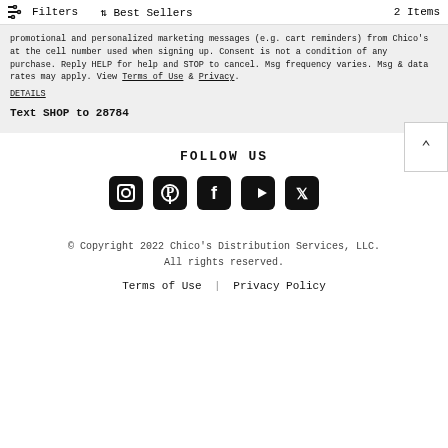Filters   ↑↓ Best Sellers   2 Items
promotional and personalized marketing messages (e.g. cart reminders) from Chico's at the cell number used when signing up. Consent is not a condition of any purchase. Reply HELP for help and STOP to cancel. Msg frequency varies. Msg & data rates may apply. View Terms of Use & Privacy.
DETAILS
Text SHOP to 28784
FOLLOW US
[Figure (other): Social media icons: Instagram, Pinterest, Facebook, YouTube, Twitter]
© Copyright 2022 Chico's Distribution Services, LLC. All rights reserved.
Terms of Use | Privacy Policy